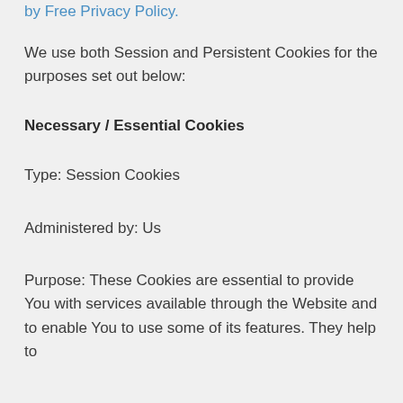by Free Privacy Policy.
We use both Session and Persistent Cookies for the purposes set out below:
Necessary / Essential Cookies
Type: Session Cookies
Administered by: Us
Purpose: These Cookies are essential to provide You with services available through the Website and to enable You to use some of its features. They help to